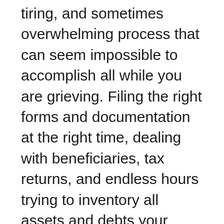tiring, and sometimes overwhelming process that can seem impossible to accomplish all while you are grieving. Filing the right forms and documentation at the right time, dealing with beneficiaries, tax returns, and endless hours trying to inventory all assets and debts your loved one left behind are all tedious yet essential tasks for the decedent's estate to be properly passed on to the next generation.
Fortunately, many of these tasks can be handled by a probate attorney. At Barilari & Williams, LLP, we provide legal services and guidance for clients going through the process